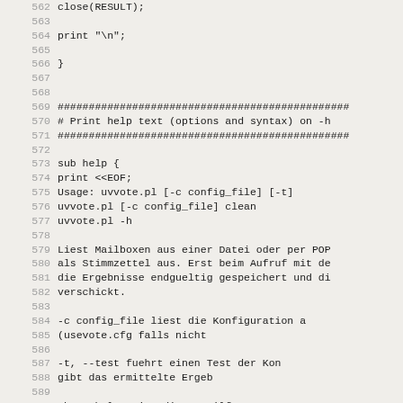Code listing lines 562-594, Perl script including sub help function with usage text in German and English
562   close(RESULT);
563
564   print "\n";
565
566 }
567
568
569 ##################################################...
570 # Print help text (options and syntax) on -h
571 ##################################################...
572
573 sub help {
574   print <<EOF;
575 Usage: uvvote.pl [-c config_file] [-t]
576         uvvote.pl [-c config_file] clean
577         uvvote.pl -h
578
579 Liest Mailboxen aus einer Datei oder per POP
580 als Stimmzettel aus. Erst beim Aufruf mit de
581 die Ergebnisse endgueltig gespeichert und di
582 verschickt.
583
584   -c config_file    liest die Konfiguration a
585                     (usevote.cfg falls nicht
586
587   -t, --test        fuehrt einen Test der Kon
588                     gibt das ermittelte Ergeb
589
590   -h, --help        zeigt diesen Hilfetext an
591
592 EOF
593
594   exit 0;